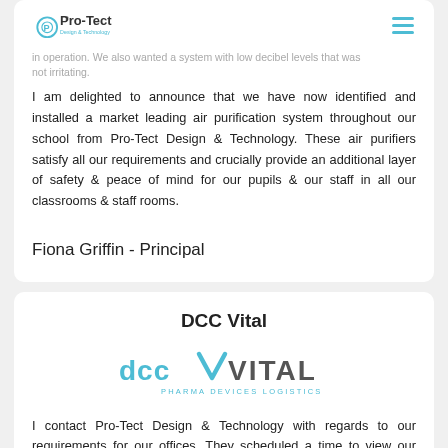Pro-Tect Design & Technology
in operation. We also wanted a system with low decibel levels that was not irritating.
I am delighted to announce that we have now identified and installed a market leading air purification system throughout our school from Pro-Tect Design & Technology. These air purifiers satisfy all our requirements and crucially provide an additional layer of safety & peace of mind for our pupils & our staff in all our classrooms & staff rooms.
Fiona Griffin - Principal
DCC Vital
[Figure (logo): DCC Vital logo with tagline PHARMA DEVICES LOGISTICS]
I contact Pro-Tect Design & Technology with regards to our requirements for our offices. They scheduled a time to view our offices and were very thorough and came up with ideas we had not thought of. Pro-Tect kept